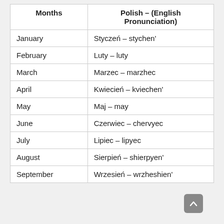| Months | Polish – (English Pronunciation) |
| --- | --- |
| January | Styczeń – stychen' |
| February | Luty – luty |
| March | Marzec – marzhec |
| April | Kwiecień – kviechen' |
| May | Maj – may |
| June | Czerwiec – chervyec |
| July | Lipiec – lipyec |
| August | Sierpień – shierpyen' |
| September | Wrzesień – wrzheshien' |